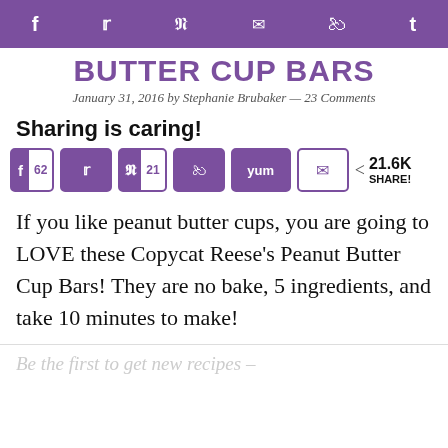f  twitter  pinterest  email  reddit  t
BUTTER CUP BARS
January 31, 2016 by Stephanie Brubaker — 23 Comments
Sharing is caring!
[Figure (infographic): Social share buttons: Facebook 62, Twitter, Pinterest 21, Reddit, Yum, Email; total 21.6K SHARE!]
If you like peanut butter cups, you are going to LOVE these Copycat Reese's Peanut Butter Cup Bars! They are no bake, 5 ingredients, and take 10 minutes to make!
Be the first to get new recipes –